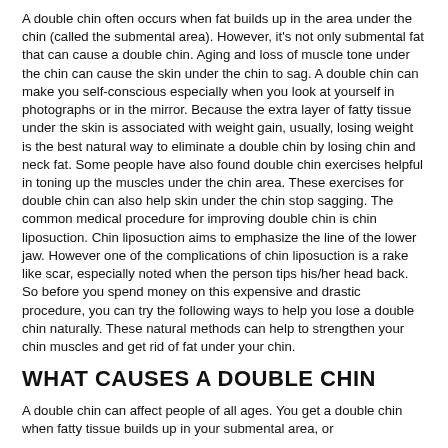A double chin often occurs when fat builds up in the area under the chin (called the submental area). However, it's not only submental fat that can cause a double chin. Aging and loss of muscle tone under the chin can cause the skin under the chin to sag. A double chin can make you self-conscious especially when you look at yourself in photographs or in the mirror. Because the extra layer of fatty tissue under the skin is associated with weight gain, usually, losing weight is the best natural way to eliminate a double chin by losing chin and neck fat. Some people have also found double chin exercises helpful in toning up the muscles under the chin area. These exercises for double chin can also help skin under the chin stop sagging. The common medical procedure for improving double chin is chin liposuction. Chin liposuction aims to emphasize the line of the lower jaw. However one of the complications of chin liposuction is a rake like scar, especially noted when the person tips his/her head back. So before you spend money on this expensive and drastic procedure, you can try the following ways to help you lose a double chin naturally. These natural methods can help to strengthen your chin muscles and get rid of fat under your chin.
WHAT CAUSES A DOUBLE CHIN
A double chin can affect people of all ages. You get a double chin when fatty tissue builds up in your submental area, or